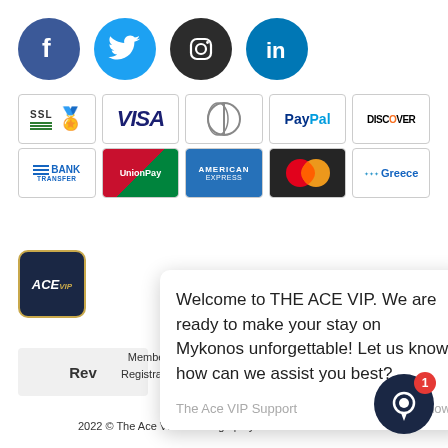[Figure (logo): Four social media icons in circles: Facebook (blue), Twitter (light blue), Instagram (dark/black), LinkedIn (blue)]
[Figure (logo): Two rows of payment method logos: SSL certificate, VISA, Diners Club, PayPal, Discover, Bank Transfer, UnionPay, American Express, MasterCard, Greece/e-commerce trust logo]
Welcome to THE ACE VIP. We are ready to make your stay on Mykonos unforgettable! Let us know how can we assist you best?
The Ace VIP Support   just now
Member of Greek Tourism Organization
Registration Number: 1173E60000903901
2022 © The Ace VIP Concierge | Mykonos V...